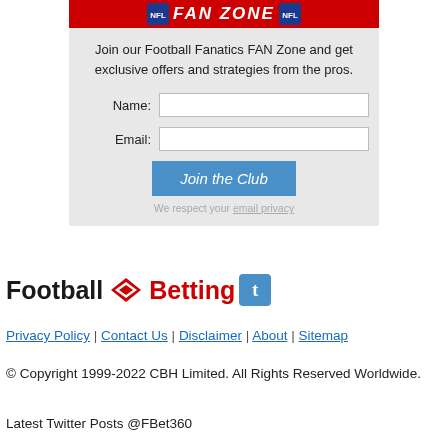[Figure (illustration): NFL FAN ZONE banner in red with NFL shield logos on left and right]
Join our Football Fanatics FAN Zone and get exclusive offers and strategies from the pros.
Name:
Email:
Join the Club
We respect your email privacy
[Figure (logo): Football Betting logo with red arrow/cross graphic and Twitter blue box icon]
Privacy Policy | Contact Us | Disclaimer | About | Sitemap
© Copyright 1999-2022 CBH Limited. All Rights Reserved Worldwide.
Latest Twitter Posts @FBet360